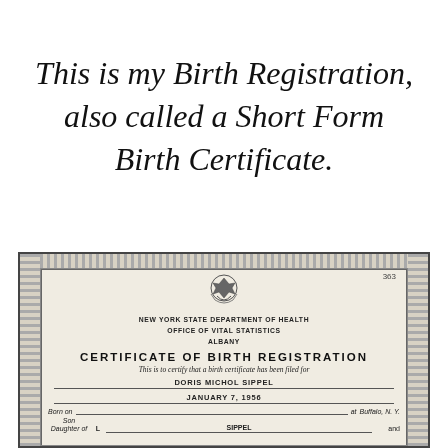This is my Birth Registration, also called a Short Form Birth Certificate.
[Figure (other): New York State Department of Health Certificate of Birth Registration for Doris Michol Sippel, born January 7, 1956 at Buffalo, N.Y. Son/Daughter of L Sippel and [cut off]. Number 363.]